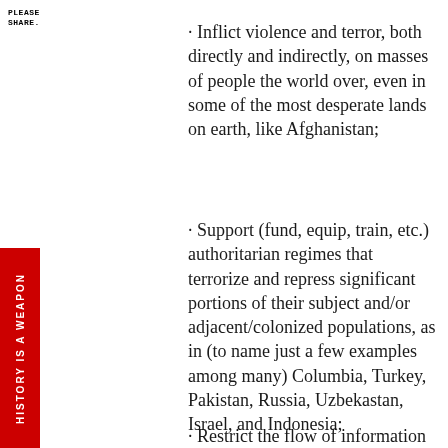PLEASE
SHARE.
· Inflict violence and terror, both directly and indirectly, on masses of people the world over, even in some of the most desperate lands on earth, like Afghanistan;
· Support (fund, equip, train, etc.) authoritarian regimes that terrorize and repress significant portions of their subject and/or adjacent/colonized populations, as in (to name just a few examples among many) Columbia, Turkey, Pakistan, Russia, Uzbekastan, Israel, and Indonesia;
· Restrict the flow of information about the consequences of US overseas policies and plan
[Figure (other): Red vertical sidebar banner with white rotated text reading 'HISTORY IS A WEAPON']